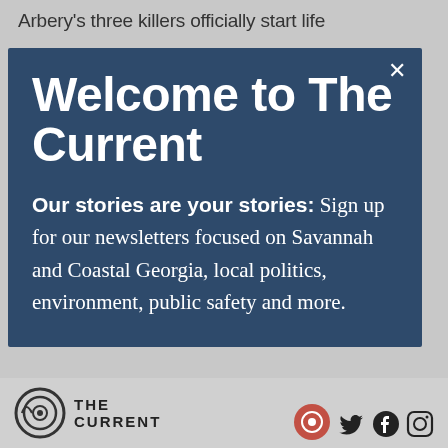Arbery's three killers officially start life
Welcome to The Current
Our stories are your stories: Sign up for our newsletters focused on Savannah and Coastal Georgia, local politics, environment, public safety and more.
[Figure (logo): The Current logo with circular sound wave icon and text 'THE CURRENT' with social media icons (Twitter, Facebook, Instagram) and a red circular icon on the right]